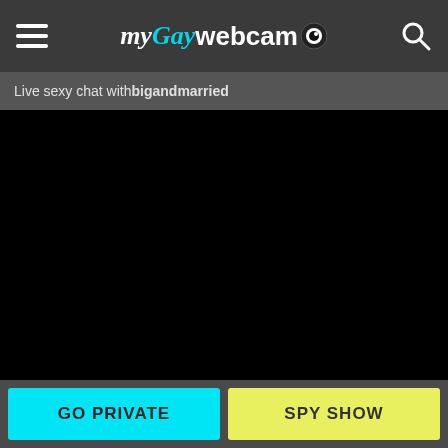my Gay webcam [logo with eye icon]
Live sexy chat with bigandmarried
[Figure (screenshot): Black video stream area showing no content]
GO PRIVATE
SPY SHOW